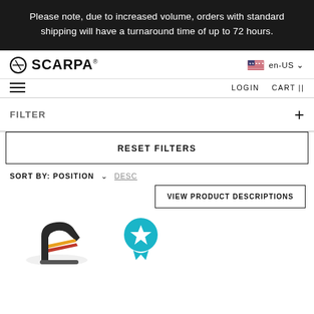Please note, due to increased volume, orders with standard shipping will have a turnaround time of up to 72 hours.
[Figure (logo): SCARPA brand logo with circular icon]
en-US
☰ (hamburger menu)
LOGIN   CART ||
FILTER +
RESET FILTERS
SORT BY: POSITION ∨   DESC
VIEW PRODUCT DESCRIPTIONS
[Figure (photo): Product photo of a Scarpa climbing shoe/harness in dark color with orange/yellow accent stripes]
[Figure (illustration): Teal award badge/ribbon icon with star]